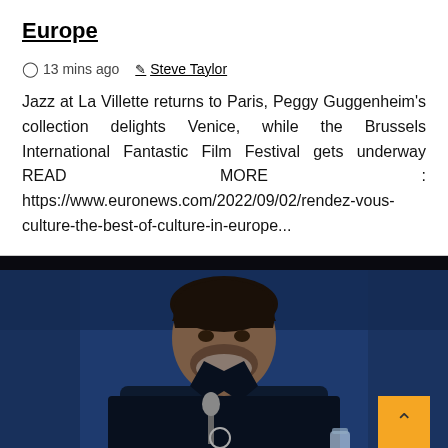Europe
13 mins ago   Steve Taylor
Jazz at La Villette returns to Paris, Peggy Guggenheim's collection delights Venice, while the Brussels International Fantastic Film Festival gets underway READ MORE : https://www.euronews.com/2022/09/02/rendez-vous-culture-the-best-of-culture-in-europe...
[Figure (photo): A man with dark hair and beard wearing a dark jacket, seated at a table with a microphone, against a blue background. A yellow scroll-to-top button is visible in the lower right.]